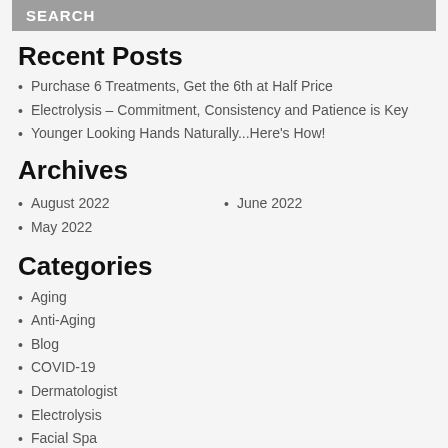SEARCH
Recent Posts
Purchase 6 Treatments, Get the 6th at Half Price
Electrolysis – Commitment, Consistency and Patience is Key
Younger Looking Hands Naturally...Here's How!
Archives
August 2022
June 2022
May 2022
Categories
Aging
Anti-Aging
Blog
COVID-19
Dermatologist
Electrolysis
Facial Spa
Featured Packages
Fraser Valley
Hair
Hair Removal